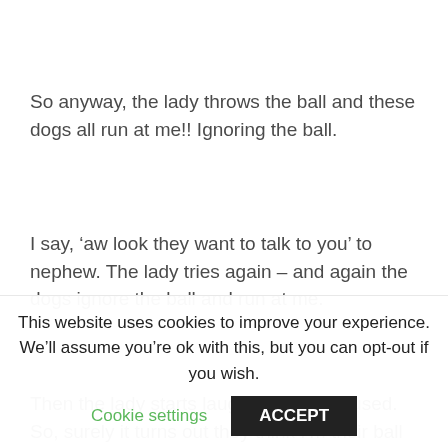So anyway, the lady throws the ball and these dogs all run at me!! Ignoring the ball.
I say, ‘aw look they want to talk to you’ to nephew. The lady tries again – and again the dogs ignore the ball and run at me.
Then the lady starts laughing, I’m confused. So, surely it turns out they think I’m their ball as I’m the same colour. I’m not thinking it’s quite as funny, am
This website uses cookies to improve your experience. We’ll assume you’re ok with this, but you can opt-out if you wish.
Cookie settings
ACCEPT